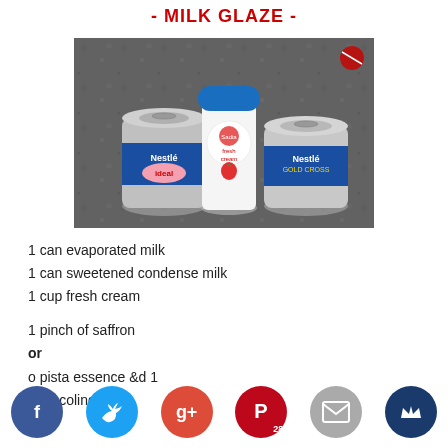- MILK GLAZE -
[Figure (photo): Three dairy product containers on a granite countertop: a Nestle Ideal evaporated milk can, a fresh cream jar with a blue lid, and a Nestle Gold Cross condensed milk can]
1 can evaporated milk
1 can sweetened condense milk
1 cup fresh cream
1 pinch of saffron
or
o pistachio essence and 1 drop
food coloring